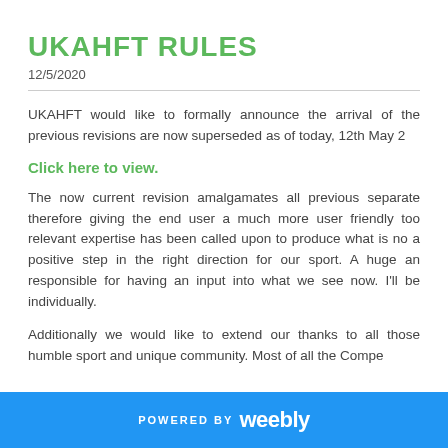UKAHFT RULES
12/5/2020
UKAHFT would like to formally announce the arrival of the previous revisions are now superseded as of today, 12th May 2
Click here to view.
The now current revision amalgamates all previous separate therefore giving the end user a much more user friendly too relevant expertise has been called upon to produce what is n a positive step in the right direction for our sport. A huge a responsible for having an input into what we see now. I'll be individually.
Additionally we would like to extend our thanks to all those humble sport and unique community. Most of all the Compe
POWERED BY weebly